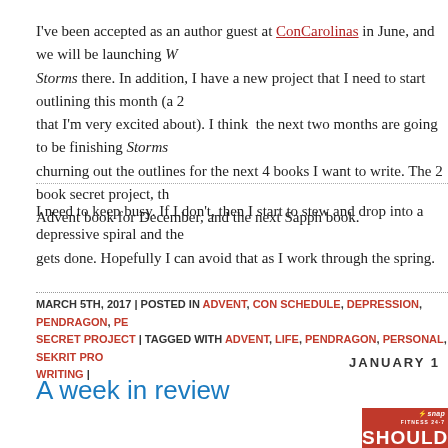I've been accepted as an author guest at ConCarolinas in June, and we will be launching W... Storms there. In addition, I have a new project that I need to start outlining this month (a 2... that I'm very excited about). I think the next two months are going to be finishing Storms... churning out the outlines for the next 4 books I want to write. The 2 book secret project, th... Advent book for December, and the next Sapph book.
I need to keep busy. If I don't, then I start to stew and drop into a depressive spiral and the... gets done. Hopefully I can avoid that as I work through the spring.
MARCH 5TH, 2017 | POSTED IN ADVENT, CON SCHEDULE, DEPRESSION, PENDRAGON, PE... SECRET PROJECT | TAGGED WITH ADVENT, LIFE, PENDRAGON, PERSONAL, SEKRIT PRO... WRITING |
JANUARY 1
A week in review
[Figure (photo): Snap Fitness 24-7 advertisement image showing the word SHOULD in white text on a red background]